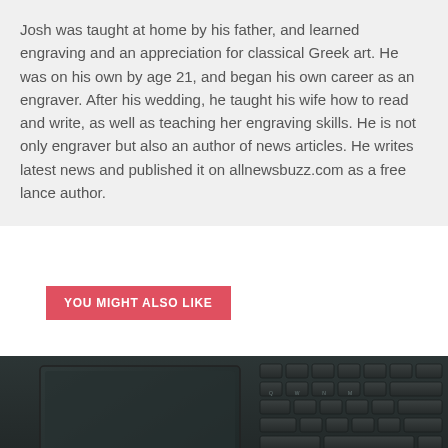Josh was taught at home by his father, and learned engraving and an appreciation for classical Greek art. He was on his own by age 21, and began his own career as an engraver. After his wedding, he taught his wife how to read and write, as well as teaching her engraving skills. He is not only engraver but also an author of news articles. He writes latest news and published it on allnewsbuzz.com as a free lance author.
YOU MIGHT ALSO LIKE
[Figure (photo): A dark laptop keyboard with a gold Bitcoin coin resting on the touchpad/keyboard area, photographed from a low angle. Dark, moody lighting with dark green/grey tones.]